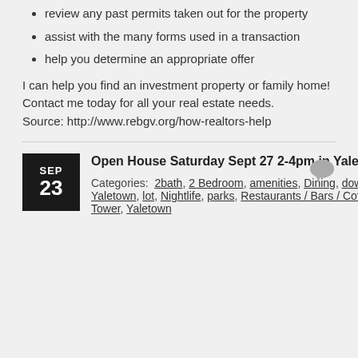review any past permits taken out for the property
assist with the many forms used in a transaction
help you determine an appropriate offer
I can help you find an investment property or family home! Contact me today for all your real estate needs.
Source: http://www.rebgv.org/how-realtors-help
Open House Saturday Sept 27 2-4pm in Yaletown
Categories: 2bath, 2 Bedroom, amenities, Dining, downtown, Heart of Yaletown, lot, Nightlife, parks, Restaurants / Bars / Coffee Houses, Robinson Tower, Yaletown